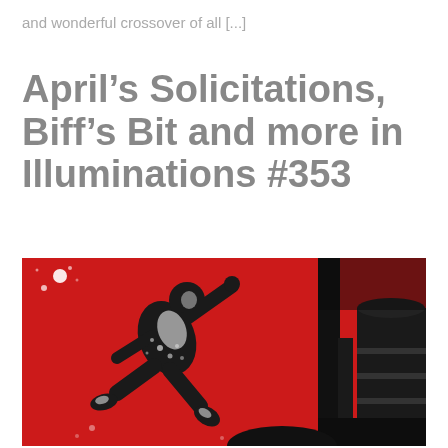and wonderful crossover of all [...]
April’s Solicitations, Biff’s Bit and more in Illuminations #353
[Figure (illustration): Comic book cover art showing a leaping figure in black and white against a vivid red background, with large dark industrial cylindrical structures on the right side.]